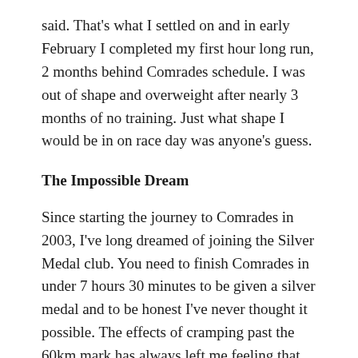said. That's what I settled on and in early February I completed my first hour long run, 2 months behind Comrades schedule. I was out of shape and overweight after nearly 3 months of no training. Just what shape I would be in on race day was anyone's guess.
The Impossible Dream
Since starting the journey to Comrades in 2003, I've long dreamed of joining the Silver Medal club. You need to finish Comrades in under 7 hours 30 minutes to be given a silver medal and to be honest I've never thought it possible. The effects of cramping past the 60km mark has always left me feeling that perhaps